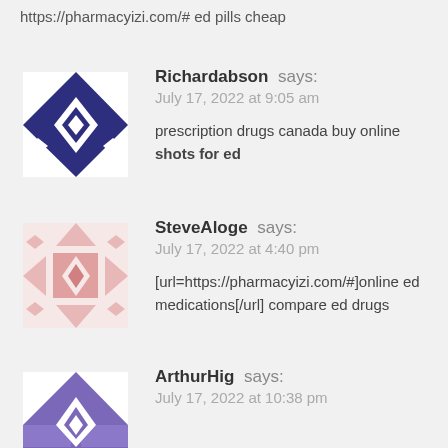https://pharmacyizi.com/# ed pills cheap
[Figure (illustration): Dark blue geometric avatar icon with diamond/triangular pattern for user Richardabson]
Richardabson says:
July 17, 2022 at 9:05 am
prescription drugs canada buy online shots for ed
[Figure (illustration): Light pink geometric avatar icon with diamond/cross pattern for user SteveAloge]
SteveAloge says:
July 17, 2022 at 4:40 pm
[url=https://pharmacyizi.com/#]online ed medications[/url] compare ed drugs
[Figure (illustration): Purple geometric avatar icon with diamond/triangular pattern for user ArthurHig]
ArthurHig says:
July 17, 2022 at 10:38 pm